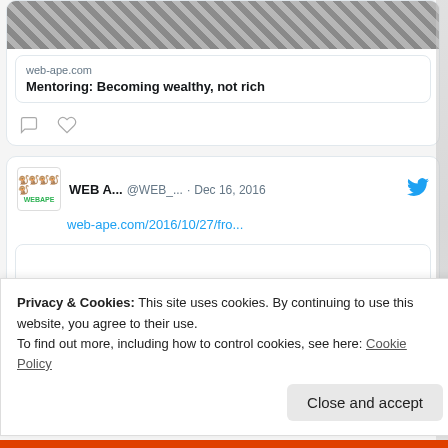[Figure (screenshot): Partial tweet card with animal photo thumbnail, web-ape.com domain link, and title 'Mentoring: Becoming wealthy, not rich', with comment and like icons below]
[Figure (screenshot): Tweet from WEB A... @WEB_... Dec 16, 2016 with link web-ape.com/2016/10/27/fro... and blank preview card]
Privacy & Cookies: This site uses cookies. By continuing to use this website, you agree to their use.
To find out more, including how to control cookies, see here: Cookie Policy